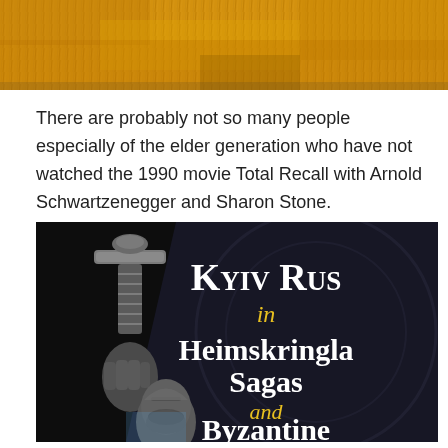[Figure (photo): Golden wheat field background image at the top of the page]
There are probably not so many people especially of the elder generation who have not watched the 1990 movie Total Recall with Arnold Schwartzenegger and Sharon Stone.
[Figure (illustration): Book cover image with dark background showing a Viking warrior holding a sword, with text 'Kyiv Rus in Heimskringla Sagas and Byzantine' in white and yellow medieval-style font]